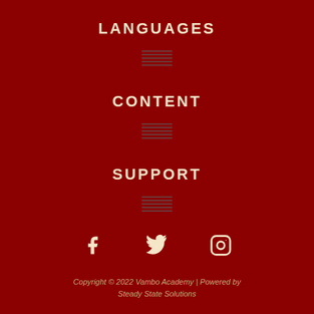LANGUAGES
[Figure (other): Menu lines placeholder under LANGUAGES section]
CONTENT
[Figure (other): Menu lines placeholder under CONTENT section]
SUPPORT
[Figure (other): Menu lines placeholder under SUPPORT section]
[Figure (other): Social media icons: Facebook, Twitter, Instagram]
Copyright © 2022 Vambo Academy | Powered by Steady State Solutions